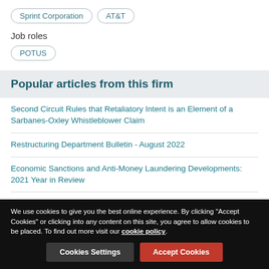Sprint Corporation
AT&T
Job roles
POTUS
Popular articles from this firm
Second Circuit Rules that Retaliatory Intent is an Element of a Sarbanes-Oxley Whistleblower Claim
Restructuring Department Bulletin - August 2022
Economic Sanctions and Anti-Money Laundering Developments: 2021 Year in Review
We use cookies to give you the best online experience. By clicking "Accept Cookies" or clicking into any content on this site, you agree to allow cookies to be placed. To find out more visit our cookie policy.
Cookies Settings
Accept Cookies